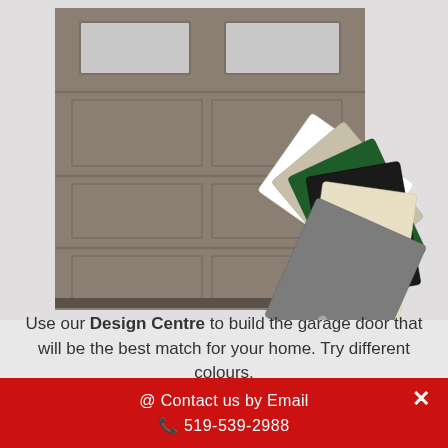[Figure (illustration): A taupe/tan garage door with two rectangular windows at the top and raised panel sections below. A fan of color swatches (paint samples) is shown in the lower right area, displaying colors: white, light gray/beige, dark green, black, cream/off-white, and medium gray.]
Use our Design Centre to build the garage door that will be the best match for your home. Try different colours,
@ Contact us by Email
519-539-2988